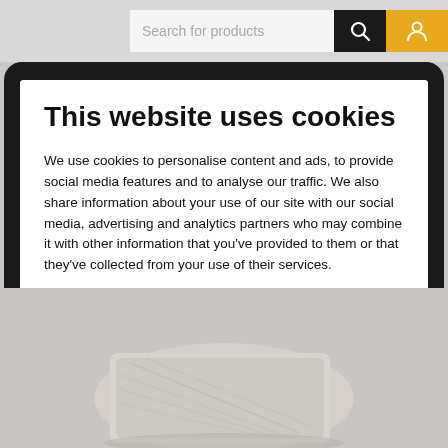[Figure (screenshot): Website navigation top bar with search box reading 'Search for products', black search icon button, and orange user/account icon button]
[Figure (screenshot): Tablet device showing a cookie consent dialog overlay on a website. The dialog has title 'This website uses cookies', explanatory text about cookie usage, a gray 'Basic cookies only' button, an orange 'Allow all cookies' button, and a 'Show details' link with chevron. Below the tablet is a photo of a real cookie/biscuit on a light background.]